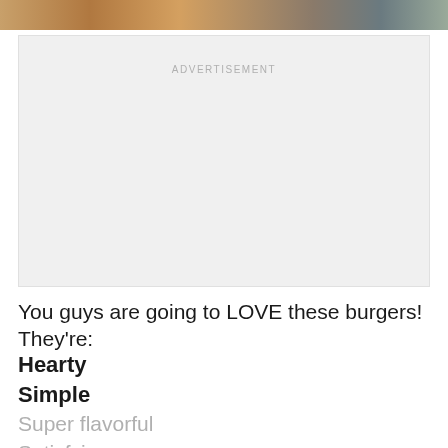[Figure (photo): Partial view of a burger photo at the top of the page, cropped]
ADVERTISEMENT
You guys are going to LOVE these burgers! They're:
Hearty
Simple
Super flavorful
Satisfying